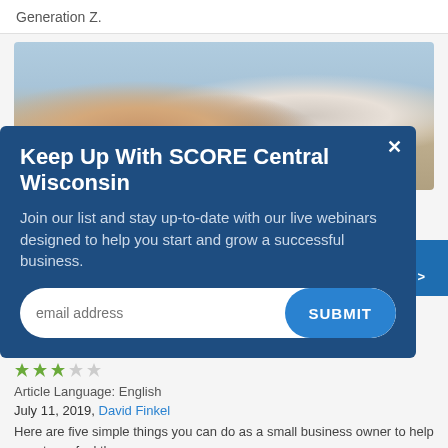Generation Z.
[Figure (photo): Group of people joining hands together, teamwork collaboration photo]
Keep Up With SCORE Central Wisconsin
Join our list and stay up-to-date with our live webinars designed to help you start and grow a successful business.
email address  SUBMIT
Article Language: English
July 11, 2019, David Finkel
Here are five simple things you can do as a small business owner to help your team feel the progress